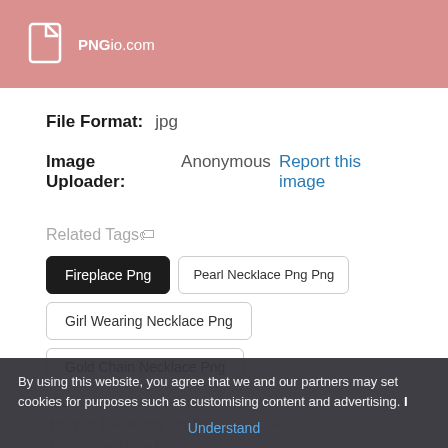PNGio.com
File Format:  jpg
Image Uploader:   Anonymous Report this image
Related Tags🏷
Fireplace Png
Pearl Necklace Png Png
Girl Wearing Necklace Png
Gold Chain Necklace Png
Queen Annes Lace Png
How To Place Png On Top Of Picture
Pearls Necklace Png
By using this website, you agree that we and our partners may set cookies for purposes such as customising content and advertising. I Understand